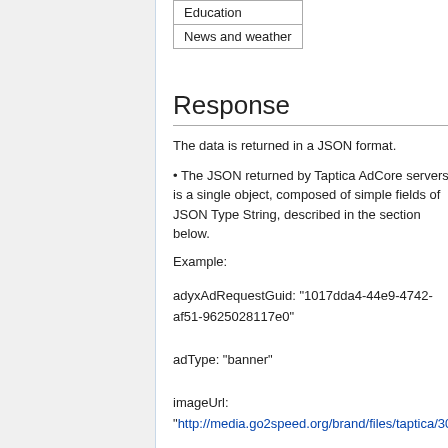| Education |
| News and weather |
Response
The data is returned in a JSON format.
The JSON returned by Taptica AdCore servers is a single object, composed of simple fields of JSON Type String, described in the section below.
Example:
adyxAdRequestGuid: "1017dda4-44e9-4742-af51-9625028117e0"
adType: "banner"
imageUrl: "http://media.go2speed.org/brand/files/taptica/30
imageAltText: null
adUrl: "http://tracking.taptica.com/aff_ic?tt_cid=1017dda444e94742af519625028117e0&